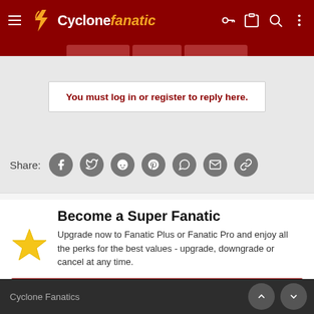Cyclone fanatic
You must log in or register to reply here.
Share:
Become a Super Fanatic
Upgrade now to Fanatic Plus or Fanatic Pro and enjoy all the perks for the best values - upgrade, downgrade or cancel at any time.
UPGRADE
Cyclone Fanatics